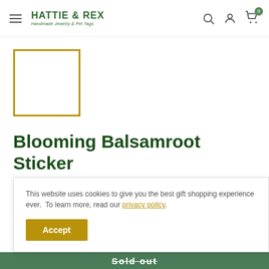HATTIE & REX — Handmade Jewelry & Pet Tags
[Figure (other): Product image placeholder with gold/mustard border, white interior]
Blooming Balsamroot Sticker
GEN DELORME
This website uses cookies to give you the best gift shopping experience ever.  To learn more, read our privacy policy.
Accept
Sold out